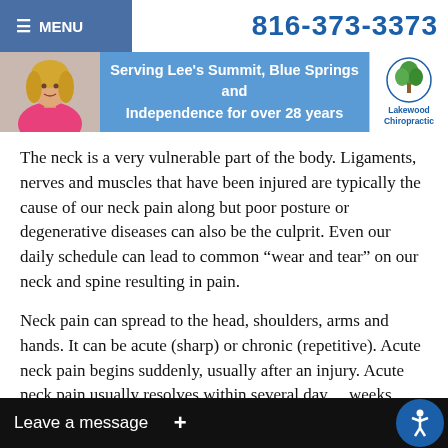MENU | 816-373-3373
[Figure (screenshot): Website header with photo of woman in pink top, blue banner reading 'Serving Lee's Summit, Blue Springs and Independence for over 28 years', and Lakewood Chiropractic logo]
The neck is a very vulnerable part of the body. Ligaments, nerves and muscles that have been injured are typically the cause of our neck pain along but poor posture or degenerative diseases can also be the culprit. Even our daily schedule can lead to common “wear and tear” on our neck and spine resulting in pain.
Neck pain can spread to the head, shoulders, arms and hands. It can be acute (sharp) or chronic (repetitive). Acute neck pain begins suddenly, usually after an injury. Acute neck pain usually resolves within several days or weeks
Leave a message  +